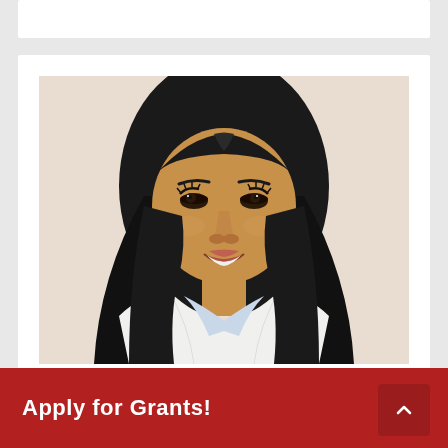[Figure (photo): Professional headshot of a woman with long straight black hair, wearing a white blazer over a blue top, smiling at the camera against a light background]
Apply for Grants!